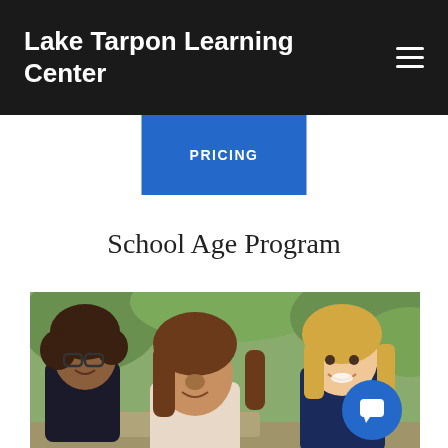Lake Tarpon Learning Center
PRICING
School Age Program
[Figure (photo): Three girls smiling and playing together outdoors, with trees and greenery in the background.]